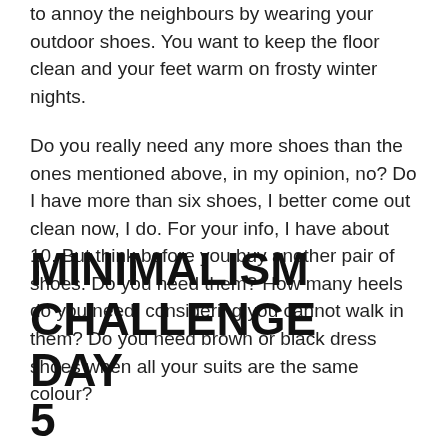to annoy the neighbours by wearing your outdoor shoes. You want to keep the floor clean and your feet warm on frosty winter nights.
Do you really need any more shoes than the ones mentioned above, in my opinion, no? Do I have more than six shoes, I better come out clean now, I do. For your info, I have about 10. But think before you buy another pair of shoes. Do you need them? How many heels do you need, considering you cannot walk in them? Do you need brown or black dress shoes when all your suits are the same colour?
MINIMALISM CHALLENGE DAY 5